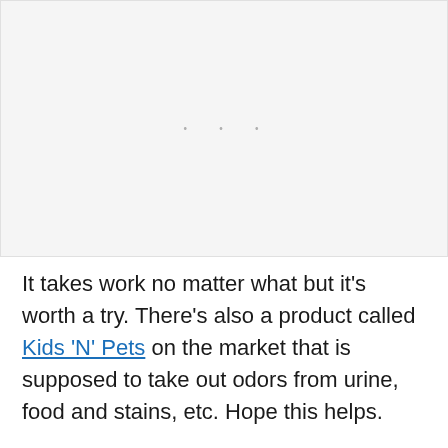[Figure (other): A mostly blank light gray placeholder area with three small gray dots centered near the top, indicating a loading or empty image/media region.]
It takes work no matter what but it’s worth a try. There’s also a product called Kids ‘N’ Pets on the market that is supposed to take out odors from urine, food and stains, etc. Hope this helps.